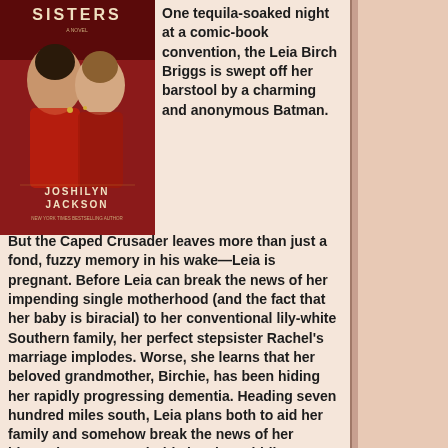[Figure (illustration): Book cover of 'Someone Else's Love Story' or similar — shows two women, red background, text 'SISTERS', 'JOSHILYN JACKSON', subtitle text, novel cover art]
One tequila-soaked night at a comic-book convention, the Leia Birch Briggs is swept off her barstool by a charming and anonymous Batman. But the Caped Crusader leaves more than just a fond, fuzzy memory in his wake—Leia is pregnant. Before Leia can break the news of her impending single motherhood (and the fact that her baby is biracial) to her conventional lily-white Southern family, her perfect stepsister Rachel's marriage implodes. Worse, she learns that her beloved grandmother, Birchie, has been hiding her rapidly progressing dementia. Heading seven hundred miles south, Leia plans both to aid her family and somehow break the news of her blessed event. But Birchie has been hiding a dangerous secret that threatens to change everything about how Leia sees herself and her sister, her unborn son and his